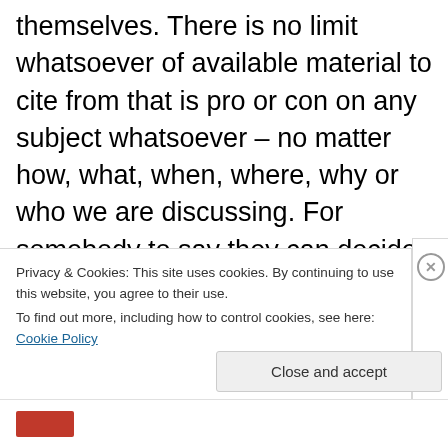themselves. There is no limit whatsoever of available material to cite from that is pro or con on any subject whatsoever – no matter how, what, when, where, why or who we are discussing. For somebody to say they can decide for themselves suggests they too have researched the same data and have chosen empirical authority based upon either some leprechaun reading of tea leaves or else they are demonstrating their own arrogance is more justified than your legitimate research. You most
Privacy & Cookies: This site uses cookies. By continuing to use this website, you agree to their use.
To find out more, including how to control cookies, see here: Cookie Policy
Close and accept